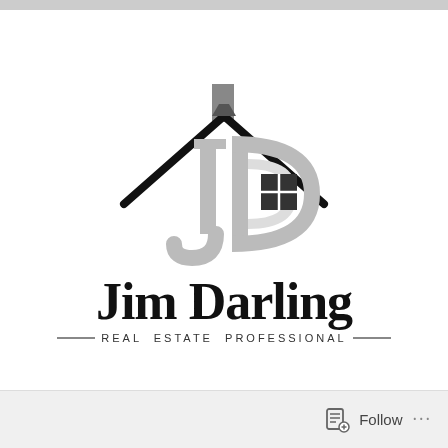[Figure (logo): Jim Darling Real Estate Professional logo featuring a stylized JD monogram inside a house outline with a chimney and window, followed by the name Jim Darling and subtitle Real Estate Professional]
Follow
...